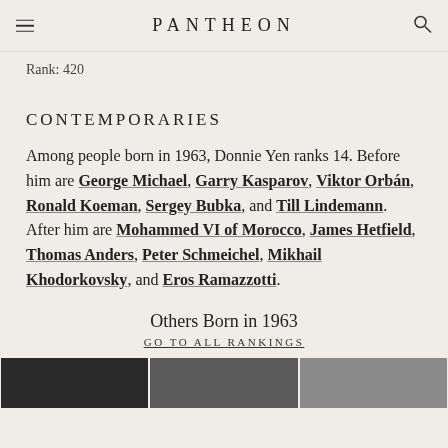PANTHEON
Rank: 420
CONTEMPORARIES
Among people born in 1963, Donnie Yen ranks 14. Before him are George Michael, Garry Kasparov, Viktor Orbán, Ronald Koeman, Sergey Bubka, and Till Lindemann. After him are Mohammed VI of Morocco, James Hetfield, Thomas Anders, Peter Schmeichel, Mikhail Khodorkovsky, and Eros Ramazzotti.
Others Born in 1963
GO TO ALL RANKINGS
[Figure (photo): Three thumbnail photos at the bottom of the page]